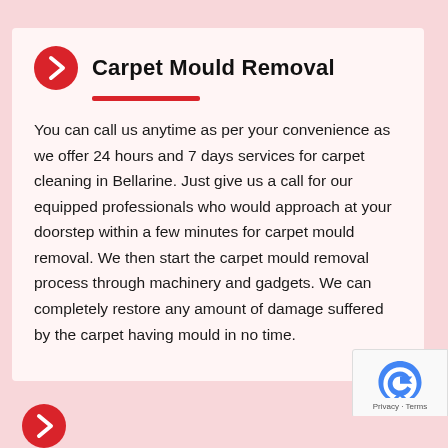Carpet Mould Removal
You can call us anytime as per your convenience as we offer 24 hours and 7 days services for carpet cleaning in Bellarine. Just give us a call for our equipped professionals who would approach at your doorstep within a few minutes for carpet mould removal. We then start the carpet mould removal process through machinery and gadgets. We can completely restore any amount of damage suffered by the carpet having mould in no time.